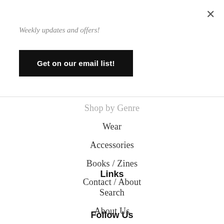Weekly updates and offers!
Get on our email list!
Shop by Genre
Wear
Accessories
Books / Zines
Contact / About
Links
Search
About Us
Follow Us